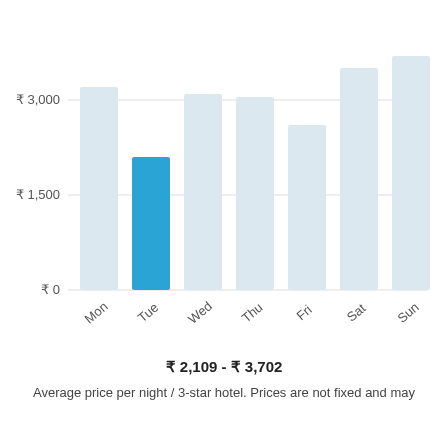[Figure (bar-chart): Average hotel price by day of week]
₹ 2,109 - ₹ 3,702
Average price per night / 3-star hotel. Prices are not fixed and may